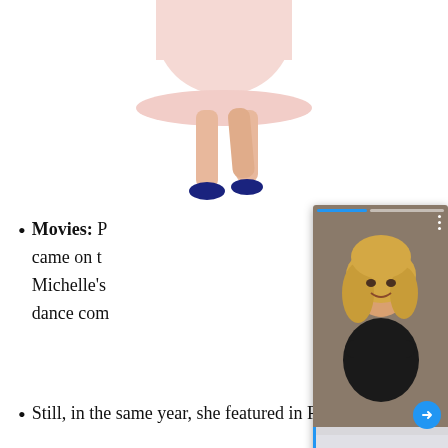[Figure (photo): Lower body of a person wearing a pink/light skirt and dark shoes, walking, white background]
[Figure (screenshot): A social media story or popup showing a smiling blonde woman in a black top with arms crossed, with a blue progress bar at top, three dots menu icon, blue arrow button, a semi-transparent white ad overlay, and a Close X button]
Movies: P... came on t... Michelle's... dance com...
Still, in the same year, she featured in Red